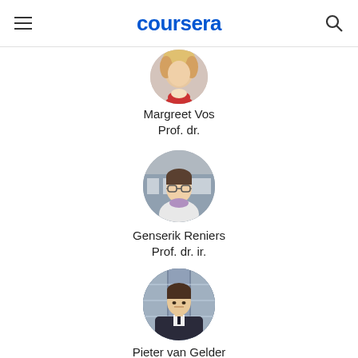coursera
[Figure (photo): Circular profile photo of Margreet Vos, partially cropped at top]
Margreet Vos
Prof. dr.
[Figure (photo): Circular profile photo of Genserik Reniers, man with glasses in white sweater]
Genserik Reniers
Prof. dr. ir.
[Figure (photo): Circular profile photo of Pieter van Gelder, man in suit with arms crossed]
Pieter van Gelder